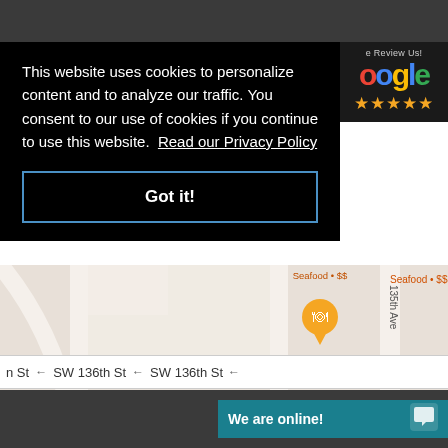This website uses cookies to personalize content and to analyze our traffic. You consent to our use of cookies if you continue to use this website.  Read our Privacy Policy
Got it!
[Figure (screenshot): Google Review Us badge with Google logo and five gold stars]
[Figure (map): Google Maps screenshot showing a seafood restaurant marker (Seafood • $$) with an orange location pin near SW 136th St and 135th Ave]
n St   ←   SW 136th St   ←   SW 136th St   ←
We are online!